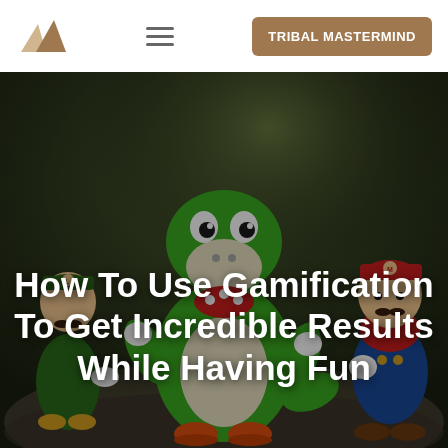TRIBAL MASTERMIND
[Figure (photo): Photo of Nintendo toy figures (Yoshi, Luigi, Mario) against a blurred outdoor background, used as a hero image for a blog post about gamification]
How To Use Gamification To Get Incredible Results While Having Fun